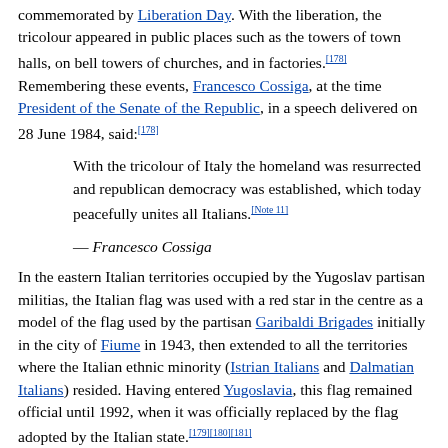commemorated by Liberation Day. With the liberation, the tricolour appeared in public places such as the towers of town halls, on bell towers of churches, and in factories.[178] Remembering these events, Francesco Cossiga, at the time President of the Senate of the Republic, in a speech delivered on 28 June 1984, said:[178]
With the tricolour of Italy the homeland was resurrected and republican democracy was established, which today peacefully unites all Italians.[Note 11]
— Francesco Cossiga
In the eastern Italian territories occupied by the Yugoslav partisan militias, the Italian flag was used with a red star in the centre as a model of the flag used by the partisan Garibaldi Brigades initially in the city of Fiume in 1943, then extended to all the territories where the Italian ethnic minority (Istrian Italians and Dalmatian Italians) resided. Having entered Yugoslavia, this flag remained official until 1992, when it was officially replaced by the flag adopted by the Italian state.[179][180][181]
Following the defeat of Italy in World War II and the Paris Treaties of 1947, Istria, Kvarner and most of Julian March, with the cities of Pola, Fiume and Zara, passed to Yugoslavia, and after the latter's